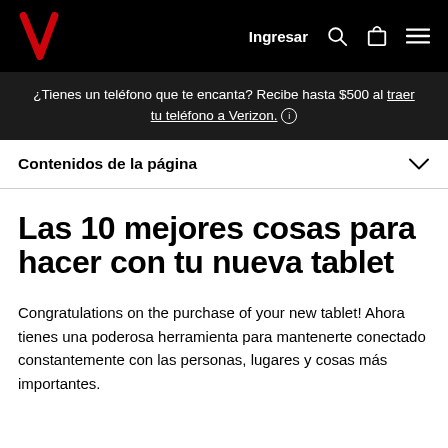Verizon — Ingresar
¿Tienes un teléfono que te encanta? Recibe hasta $500 al traer tu teléfono a Verizon. ℹ
Contenidos de la página
Las 10 mejores cosas para hacer con tu nueva tablet
Congratulations on the purchase of your new tablet! Ahora tienes una poderosa herramienta para mantenerte conectado constantemente con las personas, lugares y cosas más importantes.